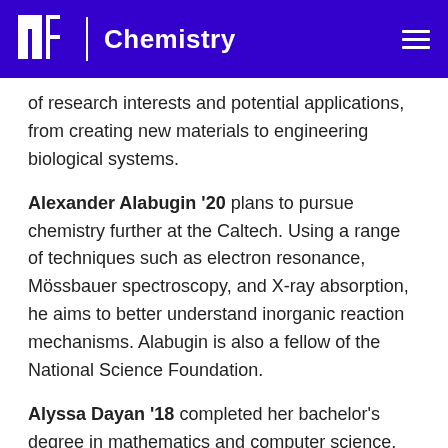MIT | Chemistry
of research interests and potential applications, from creating new materials to engineering biological systems.
Alexander Alabugin '20 plans to pursue chemistry further at the Caltech. Using a range of techniques such as electron resonance, Mössbauer spectroscopy, and X-ray absorption, he aims to better understand inorganic reaction mechanisms. Alabugin is also a fellow of the National Science Foundation.
Alyssa Dayan '18 completed her bachelor's degree in mathematics and computer science. She is currently working on simulation and prediction for autonomous vehicles at Uber Advanced Technologies Group. Dayan